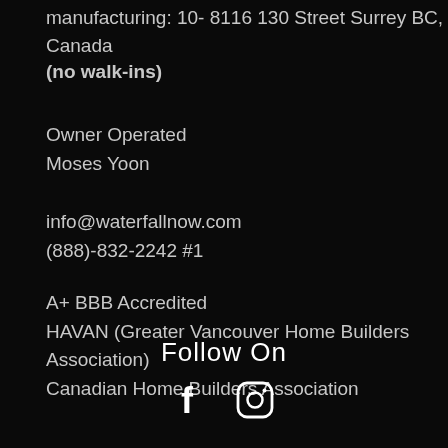manufacturing: 10- 8116 130 Street Surrey BC, Canada
(no walk-ins)
Owner Operated
Moses Yoon
info@waterfallnow.com
(888)-832-2242 #1
A+ BBB Accredited
HAVAN (Greater Vancouver Home Builders Association)
Canadian Home Builders Association
Follow On
[Figure (illustration): Social media icons: Facebook (f) and Instagram (camera in square)]